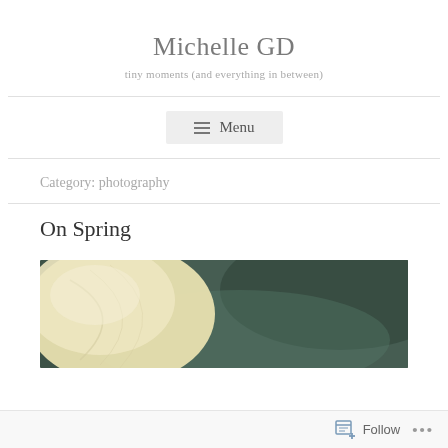Michelle GD
tiny moments (and everything in between)
≡ Menu
Category: photography
On Spring
[Figure (photo): Close-up photograph of a pale yellow/cream flower petal against a dark green blurred background]
Follow  •••